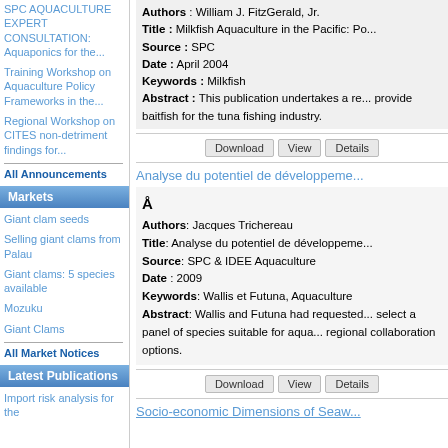SPC AQUACULTURE EXPERT CONSULTATION: Aquaponics for the...
Training Workshop on Aquaculture Policy Frameworks in the...
Regional Workshop on CITES non-detriment findings for...
All Announcements
Markets
Giant clam seeds
Selling giant clams from Palau
Giant clams: 5 species available
Mozuku
Giant Clams
All Market Notices
Latest Publications
Import risk analysis for the
Authors: William J. FitzGerald, Jr.
Title: Milkfish Aquaculture in the Pacific: Po...
Source: SPC
Date: April 2004
Keywords: Milkfish
Abstract: This publication undertakes a re... provide baitfish for the tuna fishing industry.
Analyse du potentiel de développeme...
Å
Authors: Jacques Trichereau
Title: Analyse du potentiel de développeme...
Source: SPC & IDEE Aquaculture
Date: 2009
Keywords: Wallis et Futuna, Aquaculture
Abstract: Wallis and Futuna had requested... select a panel of species suitable for aqua... regional collaboration options.
Socio-economic Dimensions of Seaw...